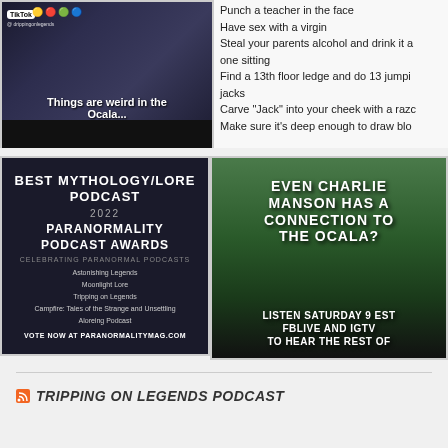[Figure (screenshot): TikTok video screenshot showing two people with holiday lights, text overlay 'Things are weird in the Ocala...' with TikTok logo]
Punch a teacher in the face
Have sex with a virgin
Steal your parents alcohol and drink it all in one sitting
Find a 13th floor ledge and do 13 jumping jacks
Carve "Jack" into your cheek with a razor
Make sure it's deep enough to draw blood
[Figure (screenshot): Best Mythology/Lore Podcast 2022 Paranormality Podcast Awards image listing: Astonishing Legends, Moonlight Lore, Tripping on Legends, Campfire: Tales of the Strange and Unsettling, Aloreing Podcast. Vote now at paranormalitymag.com]
[Figure (screenshot): Dark forest image with text: 'Even Charlie Manson has a connection to the Ocala?' and 'Listen Saturday 9 EST FBLive and IGTV to hear the rest of']
TRIPPING ON LEGENDS PODCAST